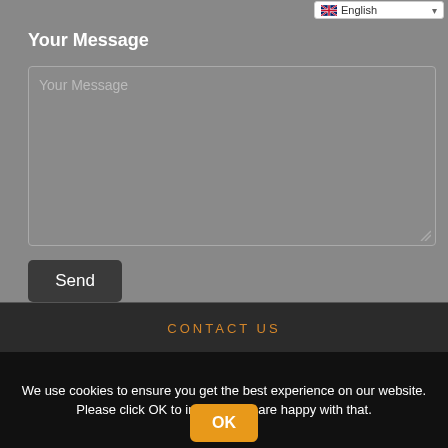[Figure (screenshot): Language selector dropdown showing English with UK flag]
Your Message
[Figure (screenshot): Large text area input box with placeholder text 'Your Message']
[Figure (screenshot): Send button - dark gray rounded rectangle]
CONTACT US
We use cookies to ensure you get the best experience on our website. Please click OK to indicate you are happy with that.
[Figure (screenshot): OK button in orange/amber color]